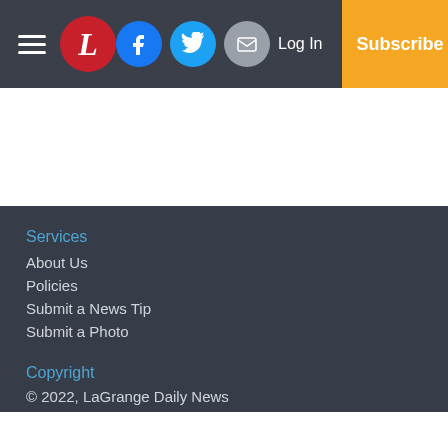LaGrange Daily News header with hamburger menu, logo, Facebook, Twitter, Email icons, Log In, Subscribe
Services
About Us
Policies
Submit a News Tip
Submit a Photo
Copyright
© 2022, LaGrange Daily News